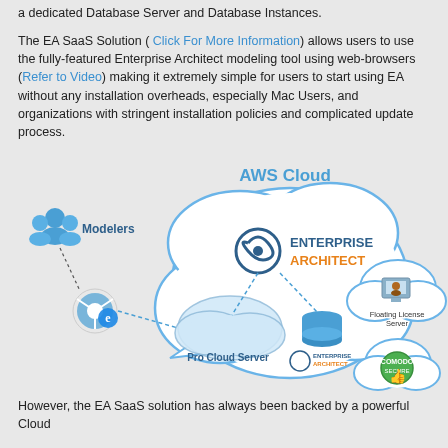a dedicated Database Server and Database Instances.
The EA SaaS Solution ( Click For More Information) allows users to use the fully-featured Enterprise Architect modeling tool using web-browsers (Refer to Video) making it extremely simple for users to start using EA without any installation overheads, especially Mac Users, and organizations with stringent installation policies and complicated update process.
[Figure (infographic): AWS Cloud diagram showing Modelers connecting via web browser (dotted arrow) to Enterprise Architect hosted in AWS Cloud, with Pro Cloud Server and database inside the cloud, and a Floating License Server and Comodo Secure badge outside the cloud on the right.]
However, the EA SaaS solution has always been backed by a powerful Cloud